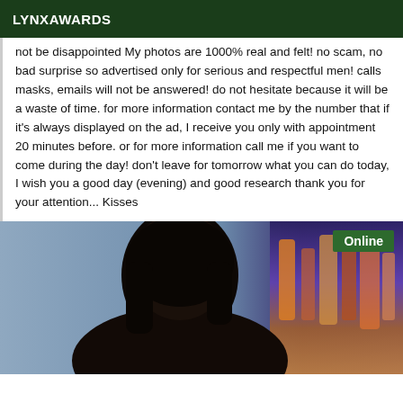LYNXAWARDS
not be disappointed My photos are 1000% real and felt! no scam, no bad surprise so advertised only for serious and respectful men! calls masks, emails will not be answered! do not hesitate because it will be a waste of time. for more information contact me by the number that if it's always displayed on the ad, I receive you only with appointment 20 minutes before. or for more information call me if you want to come during the day! don't leave for tomorrow what you can do today, I wish you a good day (evening) and good research thank you for your attention... Kisses
[Figure (photo): Photo of a person with dark hair against a colorful background, with an 'Online' badge in the top right corner]